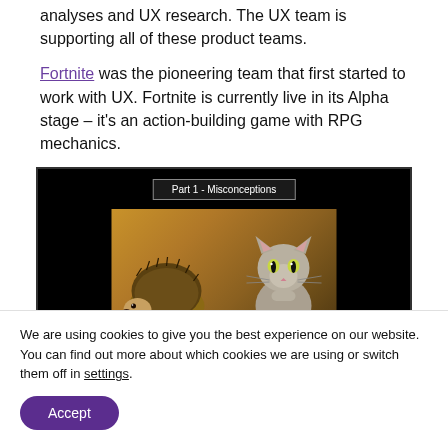analyses and UX research. The UX team is supporting all of these product teams.
Fortnite was the pioneering team that first started to work with UX. Fortnite is currently live in its Alpha stage – it's an action-building game with RPG mechanics.
[Figure (screenshot): Screenshot of a video/presentation slide with title 'Part 1 - Misconceptions' on a dark background, showing an image of a hedgehog and a cat facing each other.]
We are using cookies to give you the best experience on our website.
You can find out more about which cookies we are using or switch them off in settings.
Accept